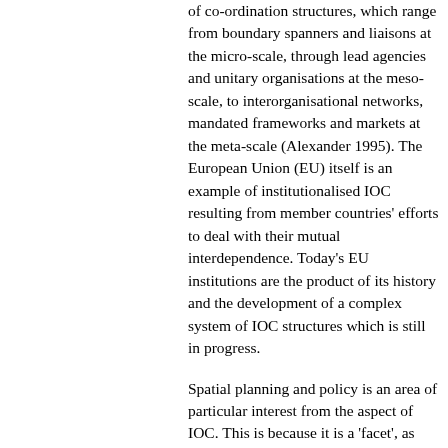of co-ordination structures, which range from boundary spanners and liaisons at the micro-scale, through lead agencies and unitary organisations at the meso-scale, to interorganisational networks, mandated frameworks and markets at the meta-scale (Alexander 1995). The European Union (EU) itself is an example of institutionalised IOC resulting from member countries' efforts to deal with their mutual interdependence. Today's EU institutions are the product of its history and the development of a complex system of IOC structures which is still in progress.
Spatial planning and policy is an area of particular interest from the aspect of IOC. This is because it is a 'facet', as distinct from a sector (to use Dutch terminology- see e.g. Ter Heide 1992: 144; Siraa, Van der Valk and Wissink 1995: 60-61, 96). This means that, rather than being defined as a particular sector (with its implications of disciplinary and functional disciplinary and functional...